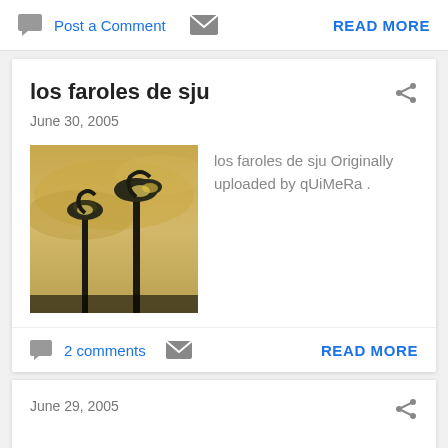Post a Comment   READ MORE
los faroles de sju
June 30, 2005
[Figure (photo): Photo of decorative street lamp posts silhouetted against a warm golden sky at dusk]
los faroles de sju Originally uploaded by qUiMeRa .
2 comments   READ MORE
June 29, 2005